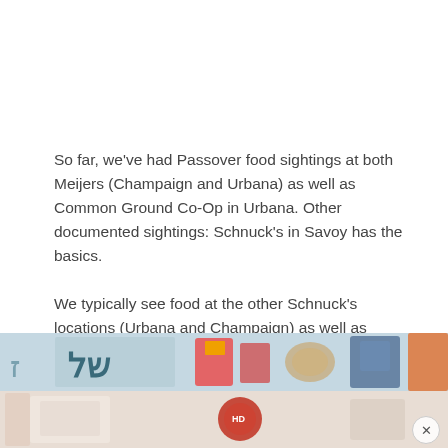So far, we've had Passover food sightings at both Meijers (Champaign and Urbana) as well as Common Ground Co-Op in Urbana. Other documented sightings: Schnuck's in Savoy has the basics.
We typically see food at the other Schnuck's locations (Urbana and Champaign) as well as Harvest Market.
But don't wait – when it's gone, it's gone.
[Figure (photo): Partial photo strip showing Passover food products with Hebrew text and colorful packaging, partially cropped at bottom of page.]